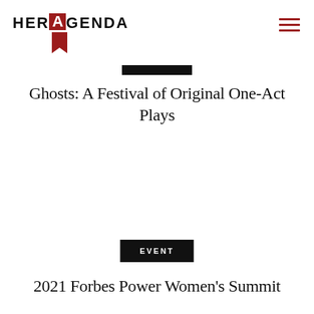[Figure (logo): Her Agenda logo with red bookmark icon containing white letter A]
[Figure (other): Hamburger menu icon with three red horizontal lines]
[Figure (other): Black horizontal bar decorative element]
Ghosts: A Festival of Original One-Act Plays
EVENT
2021 Forbes Power Women's Summit